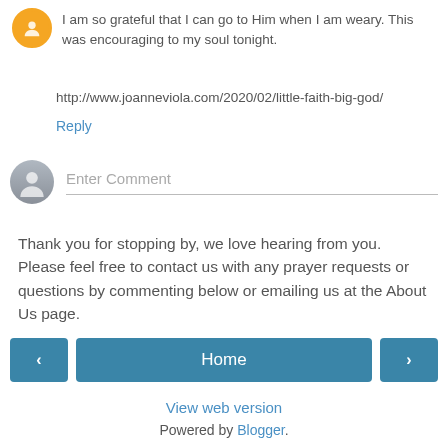I am so grateful that I can go to Him when I am weary. This was encouraging to my soul tonight.
http://www.joanneviola.com/2020/02/little-faith-big-god/
Reply
Enter Comment
Thank you for stopping by, we love hearing from you. Please feel free to contact us with any prayer requests or questions by commenting below or emailing us at the About Us page.
Home
View web version
Powered by Blogger.